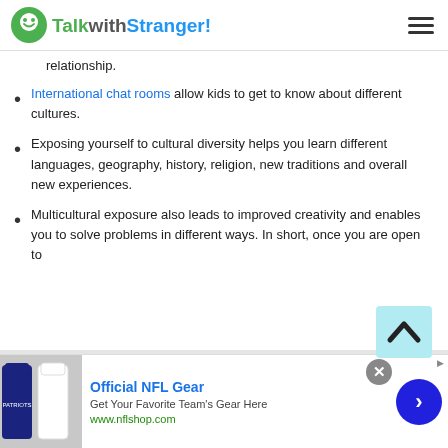TalkwithStranger!
relationship.
International chat rooms allow kids to get to know about different cultures.
Exposing yourself to cultural diversity helps you learn different languages, geography, history, religion, new traditions and overall new experiences.
Multicultural exposure also leads to improved creativity and enables you to solve problems in different ways. In short, once you are open to
[Figure (screenshot): Official NFL Gear advertisement banner at the bottom of the page with NFL team jersey image, title 'Official NFL Gear', subtitle 'Get Your Favorite Team's Gear Here', URL 'www.nflshop.com', close button, and arrow button]